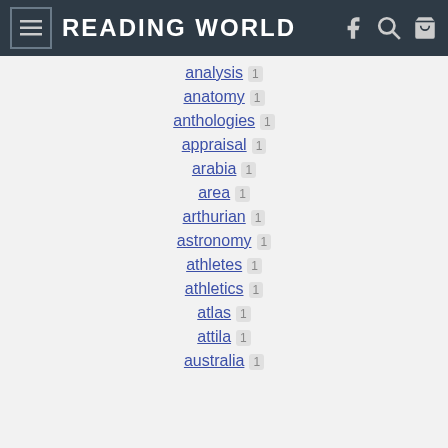READING WORLD
analysis 1
anatomy 1
anthologies 1
appraisal 1
arabia 1
area 1
arthurian 1
astronomy 1
athletes 1
athletics 1
atlas 1
attila 1
australia 1